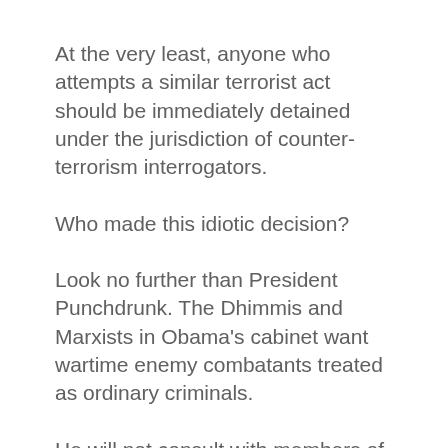At the very least, anyone who attempts a similar terrorist act should be immediately detained under the jurisdiction of counter-terrorism interrogators.
Who made this idiotic decision?
Look no further than President Punchdrunk. The Dhimmis and Marxists in Obama's cabinet want wartime enemy combatants treated as ordinary criminals.
He will not consult with members of the intelligence community, nor will he follow the standard correct procedure of trying Islamic terrorists in front of a military tribunal, where they belong.
THE ONE doesn't owe an explanation to the peons; he'll just do as he pleases. National security and the